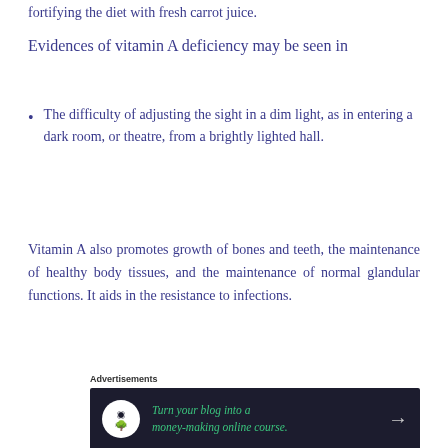fortifying the diet with fresh carrot juice.
Evidences of vitamin A deficiency may be seen in
The difficulty of adjusting the sight in a dim light, as in entering a dark room, or theatre, from a brightly lighted hall.
Vitamin A also promotes growth of bones and teeth, the maintenance of healthy body tissues, and the maintenance of normal glandular functions. It aids in the resistance to infections.
[Figure (other): Advertisement banner: Turn your blog into a money-making online course.]